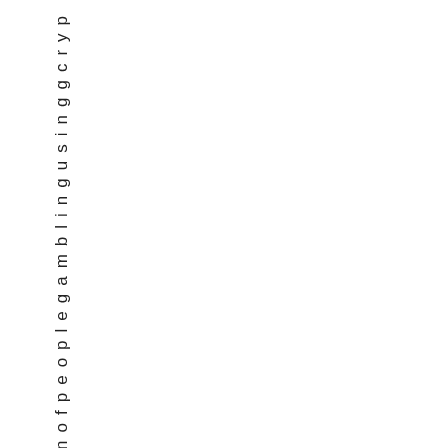go no f people gambling using cryp